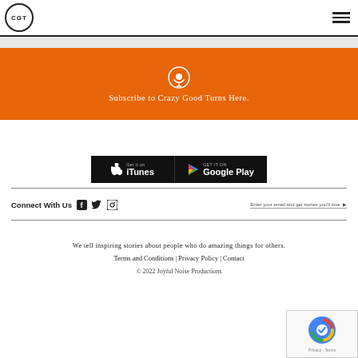CGT logo and hamburger menu
[Figure (screenshot): Orange podcast subscription banner with podcast icon and text 'Subscribe to Crazy Good Turns Here.']
Subscribe to Crazy Good Turns Here.
[Figure (screenshot): iTunes and Google Play app store download buttons]
Connect With Us
Enter your email and get stories you'll love
We tell inspiring stories about people who do amazing things for others.
Terms and Conditions | Privacy Policy | Contact
© 2022 Joyful Noise Productions